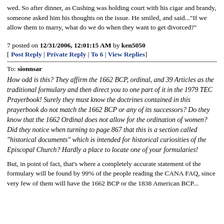wed. So after dinner, as Cushing was holding court with his cigar and brandy, someone asked him his thoughts on the issue. He smiled, and said..."If we allow them to marry, what do we do when they want to get divorced?"
7 posted on 12/31/2006, 12:01:15 AM by ken5050
[ Post Reply | Private Reply | To 6 | View Replies]
To: sionnsar
How odd is this? They affirm the 1662 BCP, ordinal, and 39 Articles as the traditional formulary and then direct you to one part of it in the 1979 TEC Prayerbook! Surely they must know the doctrines contained in this prayerbook do not match the 1662 BCP or any of its successors? Do they know that the 1662 Ordinal does not allow for the ordination of women? Did they notice when turning to page 867 that this is a section called "historical documents" which is intended for historical curiosities of the Episcopal Church? Hardly a place to locate one of your formularies!
But, in point of fact, that's where a completely accurate statement of the formulary will be found by 99% of the people reading the CANA FAQ, since very few of them will have the 1662 BCP or the 1838 American BCP...